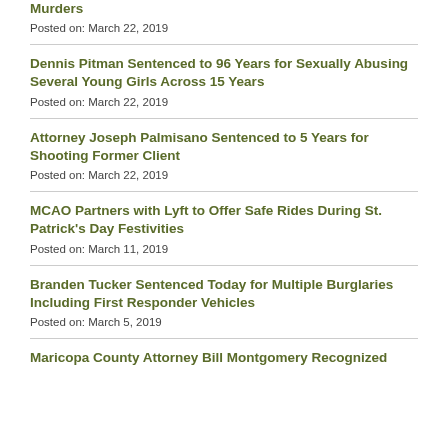Murders
Posted on: March 22, 2019
Dennis Pitman Sentenced to 96 Years for Sexually Abusing Several Young Girls Across 15 Years
Posted on: March 22, 2019
Attorney Joseph Palmisano Sentenced to 5 Years for Shooting Former Client
Posted on: March 22, 2019
MCAO Partners with Lyft to Offer Safe Rides During St. Patrick's Day Festivities
Posted on: March 11, 2019
Branden Tucker Sentenced Today for Multiple Burglaries Including First Responder Vehicles
Posted on: March 5, 2019
Maricopa County Attorney Bill Montgomery Recognized